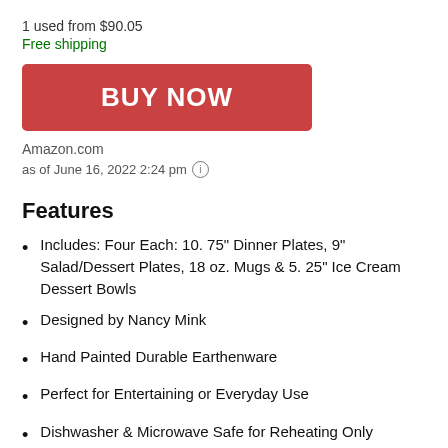1 used from $90.05
Free shipping
BUY NOW
Amazon.com
as of June 16, 2022 2:24 pm ⓘ
Features
Includes: Four Each: 10. 75" Dinner Plates, 9" Salad/Dessert Plates, 18 oz. Mugs & 5. 25" Ice Cream Dessert Bowls
Designed by Nancy Mink
Hand Painted Durable Earthenware
Perfect for Entertaining or Everyday Use
Dishwasher & Microwave Safe for Reheating Only